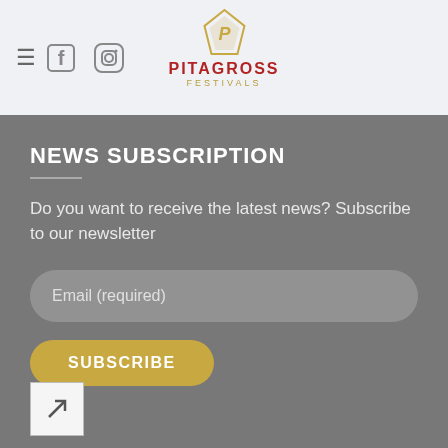Pitagross Festivals — navigation header with hamburger menu, Facebook icon, Instagram icon, and logo
NEWS SUBSCRIPTION
Do you want to receive the latest news? Subscribe to our newsletter
Email (required)
SUBSCRIBE